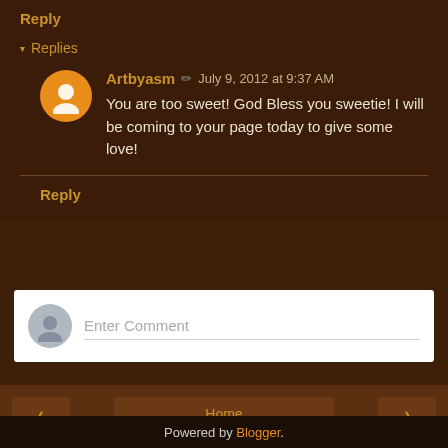Reply
▾ Replies
Artbyasm ✏ July 9, 2012 at 9:37 AM
You are too sweet! God Bless you sweetie! I will be coming to your page today to give some love!
Reply
Enter Comment
Home
View web version
Powered by Blogger.